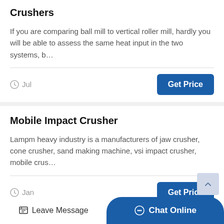Crushers
If you are comparing ball mill to vertical roller mill, hardly you will be able to assess the same heat input in the two systems, b…
Jul
Get Price
Mobile Impact Crusher
Lampm heavy industry is a manufacturers of jaw crusher, cone crusher, sand making machine, vsi impact crusher, mobile crus…
Jan
Get Price
Stare Pulverizer Udaypur
Leave Message
Chat Online